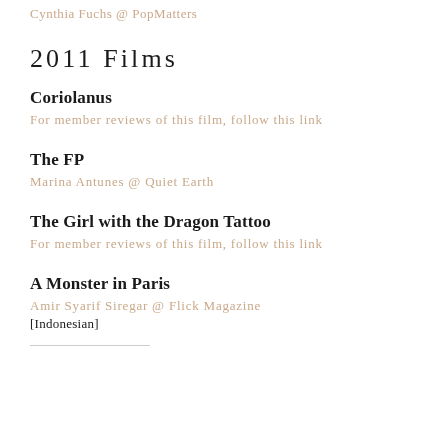Cynthia Fuchs @ PopMatters
2011 Films
Coriolanus
For member reviews of this film, follow this link
The FP
Marina Antunes @ Quiet Earth
The Girl with the Dragon Tattoo
For member reviews of this film, follow this link
A Monster in Paris
Amir Syarif Siregar @ Flick Magazine
[Indonesian]